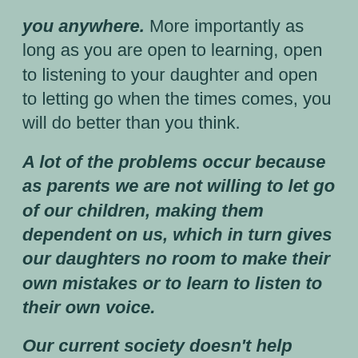you anywhere. More importantly as long as you are open to learning, open to listening to your daughter and open to letting go when the times comes, you will do better than you think.
A lot of the problems occur because as parents we are not willing to let go of our children, making them dependent on us, which in turn gives our daughters no room to make their own mistakes or to learn to listen to their own voice.
Our current society doesn't help promote a healthy self esteem for young girls. As